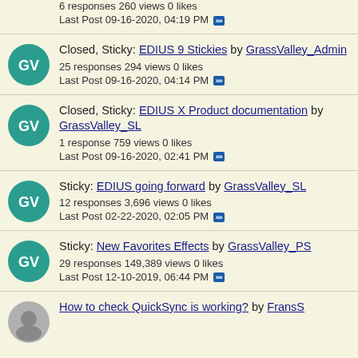GrassValley_Admin
6 responses 260 views 0 likes
Last Post 09-16-2020, 04:19 PM
Closed, Sticky: EDIUS 9 Stickies by GrassValley_Admin
25 responses 294 views 0 likes
Last Post 09-16-2020, 04:14 PM
Closed, Sticky: EDIUS X Product documentation by GrassValley_SL
1 response 759 views 0 likes
Last Post 09-16-2020, 02:41 PM
Sticky: EDIUS going forward by GrassValley_SL
12 responses 3,696 views 0 likes
Last Post 02-22-2020, 02:05 PM
Sticky: New Favorites Effects by GrassValley_PS
29 responses 149,389 views 0 likes
Last Post 12-10-2019, 06:44 PM
How to check QuickSync is working? by FransS